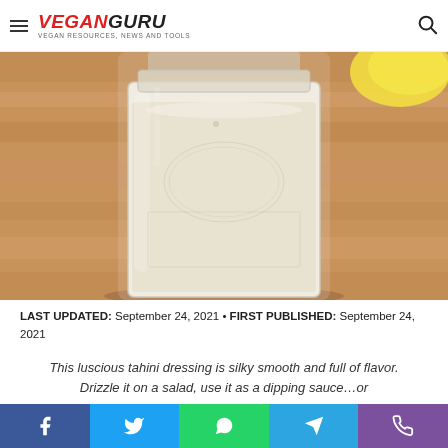VEGANGURU — VEGAN RESOURCES, NEWS AND TOOLS
[Figure (photo): Close-up photo of a glass mason jar filled with creamy tahini dressing, placed on a wooden surface, with a lemon visible in the background.]
LAST UPDATED: September 24, 2021 • FIRST PUBLISHED: September 24, 2021
This luscious tahini dressing is silky smooth and full of flavor. Drizzle it on a salad, use it as a dipping sauce…or
Social share buttons: Facebook, Twitter, WhatsApp, Telegram, Viber